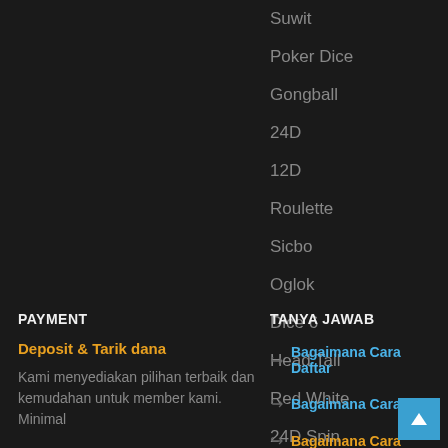Suwit
Poker Dice
Gongball
24D
12D
Roulette
Sicbo
Oglok
Dice 6
Head Tail
Red White
24D Spin
PAYMENT
TANYA JAWAB
Deposit & Tarik dana
Kami menyediakan pilihan terbaik dan kemudahan untuk member kami. Minimal
Bagaimana Cara Daftar
Bagaimana Cara De
Bagaimana Cara